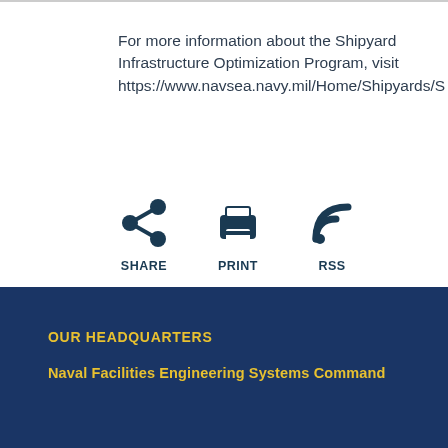For more information about the Shipyard Infrastructure Optimization Program, visit https://www.navsea.navy.mil/Home/Shipyards/S
[Figure (infographic): Three icons in a row: Share (network/share icon), Print (printer icon), RSS (wifi/RSS icon), each with a bold label below]
OUR HEADQUARTERS
Naval Facilities Engineering Systems Command